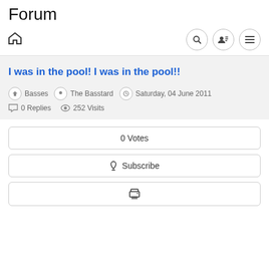Forum
I was in the pool! I was in the pool!!
Basses  The Basstard  Saturday, 04 June 2011
0 Replies  252 Visits
0 Votes
Subscribe
[Figure (other): Print icon button]